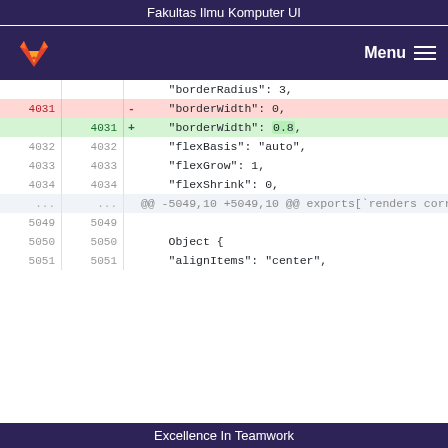Fakultas Ilmu Komputer UI
[Figure (screenshot): GitLab-style navigation bar with orange fox logo on left and Menu hamburger button on right, dark purple background]
| old_line | new_line | sign | content |
| --- | --- | --- | --- |
|  |  |  | "borderRadius": 3, |
| 4031 |  | - | "borderWidth": 0, |
|  | 4031 | + | "borderWidth": 0.8, |
| 4032 | 4032 |  | "flexBasis": "auto", |
| 4033 | 4033 |  | "flexGrow": 1, |
| 4034 | 4034 |  | "flexShrink": 0, |
| ... | ... |  | @@ -5049,10 +5049,10 @@ exports[`renders correctly 1`] = ` |
| 5049 | 5049 |  | style={ |
| 5050 | 5050 |  | Object { |
| 5051 | 5051 |  | "alignItems": "center", |
Excellence In Teamwork